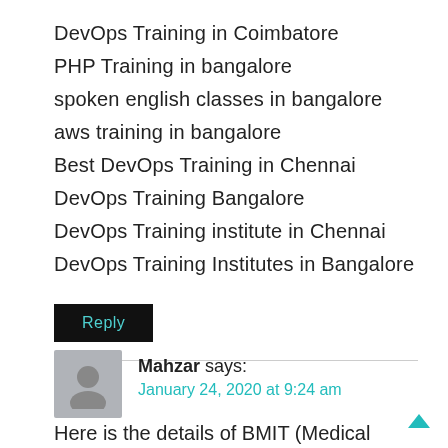DevOps Training in Coimbatore
PHP Training in bangalore
spoken english classes in bangalore
aws training in bangalore
Best DevOps Training in Chennai
DevOps Training Bangalore
DevOps Training institute in Chennai
DevOps Training Institutes in Bangalore
Reply
Mahzar says:
January 24, 2020 at 9:24 am
Here is the details of BMIT (Medical Imaging Technology) colleges in Bangalore. If you are